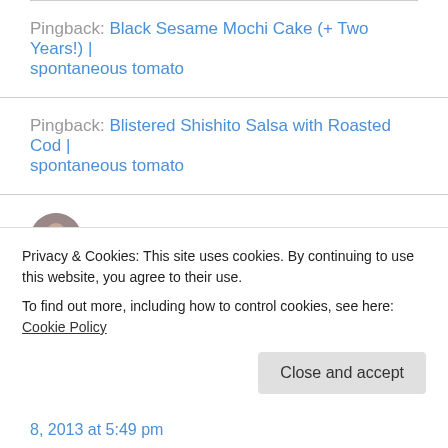Pingback: Black Sesame Mochi Cake (+ Two Years!) | spontaneous tomato
Pingback: Blistered Shishito Salsa with Roasted Cod | spontaneous tomato
Sophia on September 8, 2013 at 1:14 pm
Lovely image! I like the different textures that are going on here.
Privacy & Cookies: This site uses cookies. By continuing to use this website, you agree to their use. To find out more, including how to control cookies, see here: Cookie Policy
Close and accept
8, 2013 at 5:49 pm